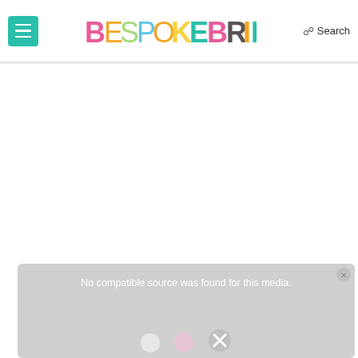BESPOKE BRIDE — Search
[Figure (screenshot): White empty content area below the header navigation bar]
[Figure (screenshot): Video player error overlay with gray background showing 'No compatible source was found for this media.' with a close button and media icons]